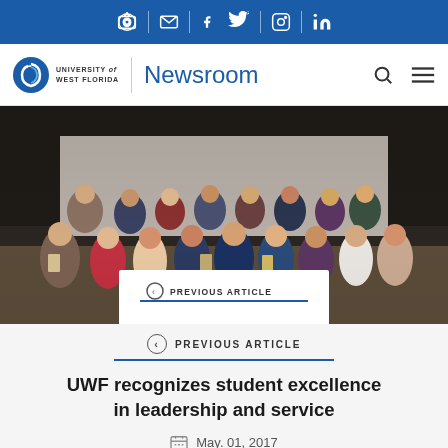Social media icons bar: camera, email, facebook, twitter, instagram, linkedin
University of West Florida Newsroom
[Figure (photo): Group photo of UWF students holding awards and trophies at a recognition ceremony, dressed in formal attire, standing in front of a projection screen.]
PREVIOUS ARTICLE
UWF recognizes student excellence in leadership and service
May. 01, 2017